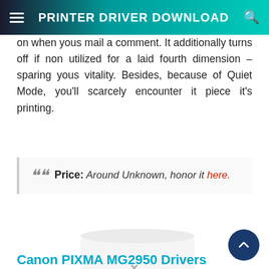PRINTER DRIVER DOWNLOAD
on when yous mail a comment. It additionally turns off if non utilized for a laid fourth dimension – sparing yous vitality. Besides, because of Quiet Mode, you'll scarcely encounter it piece it's printing.
Price: Around Unknown, honor it here.
[Figure (photo): Canon PIXMA printer (white, compact all-in-one scanner/printer) shown from an angle]
Canon PIXMA MG2950 Drivers